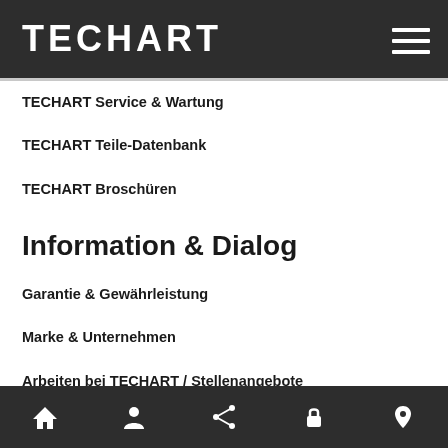TECHART
TECHART Service & Wartung
TECHART Teile-Datenbank
TECHART Broschüren
Information & Dialog
Garantie & Gewährleistung
Marke & Unternehmen
Arbeiten bei TECHART / Stellenangebote
Newsletter & Social Media
Home | Account | Share | Lock | Location